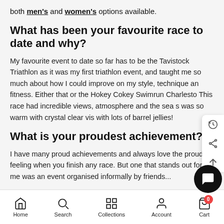both men's and women's options available.
What has been your favourite race to date and why?
My favourite event to date so far has to be the Tavistock Triathlon as it was my first triathlon event, and taught me so much about how I could improve on my style, technique and fitness. Either that or the Hokey Cokey Swimrun Charleston. This race had incredible views, atmosphere and the sea so was so warm with crystal clear vis with lots of barrel jellies!
What is your proudest achievement?
I have many proud achievements and always love the proud feeling when you finish any race. But one that stands out for me was an event organised informally by friends...
Home  Search  Collections  Account  Cart